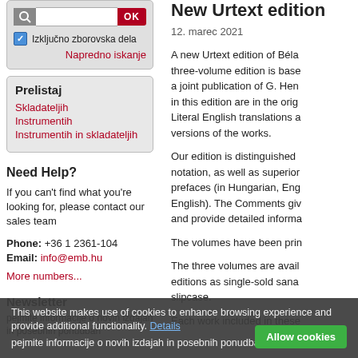Izključno zborovska dela
Napredno iskanje
Prelistaj
Skladateljih
Instrumentih
Instrumentih in skladateljih
Need Help?
If you can't find what you're looking for, please contact our sales team
Phone: +36 1 2361-104
Email: info@emb.hu
More numbers...
Newsletter
pejmite informacije o novih izdajah in posebnih ponudbah
New Urtext edition
12. marec 2021
A new Urtext edition of Béla... three-volume edition is based... a joint publication of G. Hen... in this edition are in the orig... Literal English translations a... versions of the works.
Our edition is distinguished... notation, as well as superior... prefaces (in Hungarian, Eng... English). The Comments gi... and provide detailed informa...
The volumes have been pri...
The three volumes are avail... editions as single-sold sana... slipcase.
Each work included in these...
This website makes use of cookies to enhance browsing experience and provide additional functionality. Details
Allow cookies